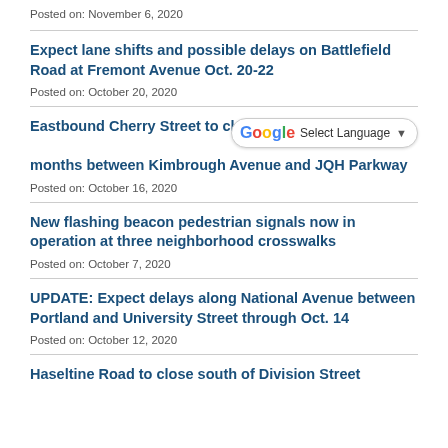Posted on: November 6, 2020
Expect lane shifts and possible delays on Battlefield Road at Fremont Avenue Oct. 20-22
Posted on: October 20, 2020
Eastbound Cherry Street to close months between Kimbrough Avenue and JQH Parkway
Posted on: October 16, 2020
New flashing beacon pedestrian signals now in operation at three neighborhood crosswalks
Posted on: October 7, 2020
UPDATE: Expect delays along National Avenue between Portland and University Street through Oct. 14
Posted on: October 12, 2020
Haseltine Road to close south of Division Street